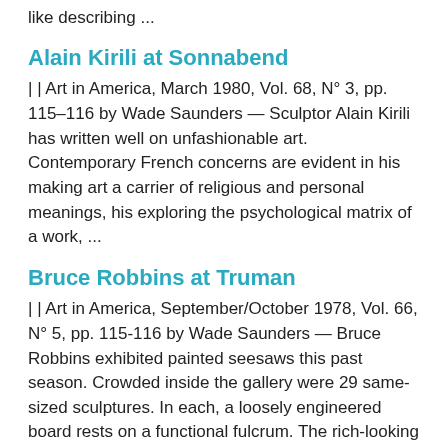like describing ...
Alain Kirili at Sonnabend
| | Art in America, March 1980, Vol. 68, N° 3, pp. 115–116 by Wade Saunders — Sculptor Alain Kirili has written well on unfashionable art. Contemporary French concerns are evident in his making art a carrier of religious and personal meanings, his exploring the psychological matrix of a work, ...
Bruce Robbins at Truman
| | Art in America, September/October 1978, Vol. 66, N° 5, pp. 115-116 by Wade Saunders — Bruce Robbins exhibited painted seesaws this past season. Crowded inside the gallery were 29 same-sized sculptures. In each, a loosely engineered board rests on a functional fulcrum. The rich-looking boards measure 84 inches ...
Mel Kendrick at John Weber